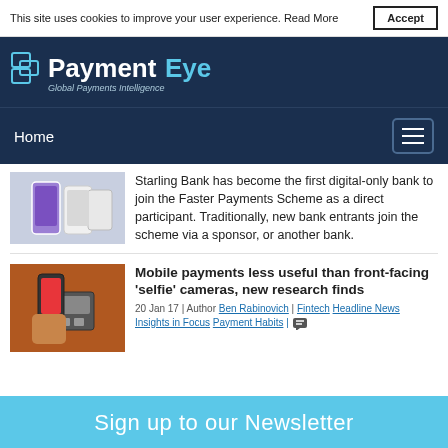This site uses cookies to improve your user experience. Read More  Accept
[Figure (logo): PaymentEye logo — white and cyan text on dark navy background, with stacked rectangles icon. Tagline: Global Payments Intelligence]
Home
[Figure (photo): Thumbnail of mobile phones (purple and white) — related to Starling Bank article]
Starling Bank has become the first digital-only bank to join the Faster Payments Scheme as a direct participant. Traditionally, new bank entrants join the scheme via a sponsor, or another bank.
[Figure (photo): Thumbnail of a hand holding a smartphone over a card payment terminal, on an orange/brown background]
Mobile payments less useful than front-facing 'selfie' cameras, new research finds
20 Jan 17 | Author Ben Rabinovich | Fintech  Headline News  Insights in Focus  Payment Habits |
Sign up to our Newsletter